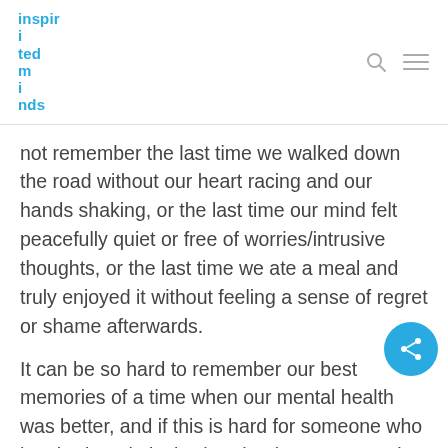inspirited minds
not remember the last time we walked down the road without our heart racing and our hands shaking, or the last time our mind felt peacefully quiet or free of worries/intrusive thoughts, or the last time we ate a meal and truly enjoyed it without feeling a sense of regret or shame afterwards.
It can be so hard to remember our best memories of a time when our mental health was better, and if this is hard for someone who has had a relatively short but intense struggle with their mental health it must be even harder for those